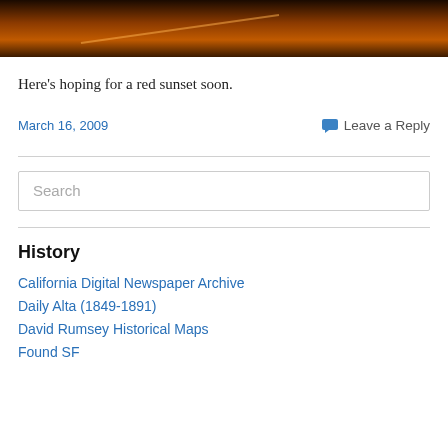[Figure (photo): Dark reddish-orange sunset photo strip at the top of the page]
Here's hoping for a red sunset soon.
March 16, 2009
Leave a Reply
Search
History
California Digital Newspaper Archive
Daily Alta (1849-1891)
David Rumsey Historical Maps
Found SF